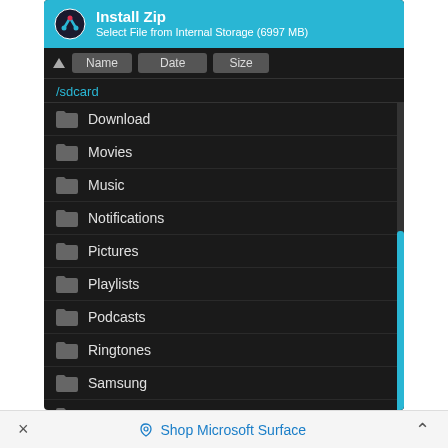[Figure (screenshot): Android TWRP file manager screenshot showing Install Zip dialog with file browser listing /sdcard folders and Magisk-v20.4.zip file selected (highlighted in red border). Folders listed: Download, Movies, Music, Notifications, Pictures, Playlists, Podcasts, Ringtones, Samsung, TWRP, and Magisk-v20.4.zip. Blue scrollbar on right side.]
× Shop Microsoft Surface ^